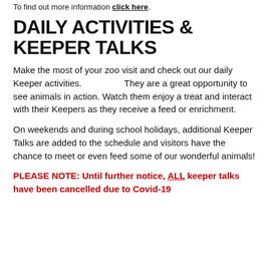To find out more information click here.
DAILY ACTIVITIES & KEEPER TALKS
Make the most of your zoo visit and check out our daily Keeper activities.                They are a great opportunity to see animals in action. Watch them enjoy a treat and interact with their Keepers as they receive a feed or enrichment.
On weekends and during school holidays, additional Keeper Talks are added to the schedule and visitors have the chance to meet or even feed some of our wonderful animals!
PLEASE NOTE: Until further notice, ALL keeper talks have been cancelled due to Covid-19